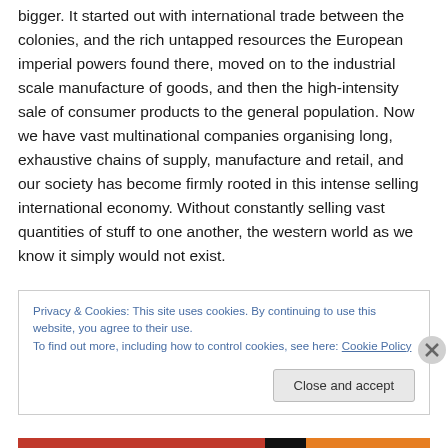bigger. It started out with international trade between the colonies, and the rich untapped resources the European imperial powers found there, moved on to the industrial scale manufacture of goods, and then the high-intensity sale of consumer products to the general population. Now we have vast multinational companies organising long, exhaustive chains of supply, manufacture and retail, and our society has become firmly rooted in this intense selling international economy. Without constantly selling vast quantities of stuff to one another, the western world as we know it simply would not exist.
Privacy & Cookies: This site uses cookies. By continuing to use this website, you agree to their use.
To find out more, including how to control cookies, see here: Cookie Policy